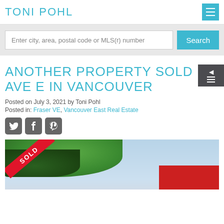TONI POHL
Enter city, area, postal code or MLS(r) number
ANOTHER PROPERTY SOLD AVE E IN VANCOUVER
Posted on July 3, 2021 by Toni Pohl
Posted in: Fraser VE, Vancouver East Real Estate
[Figure (photo): Property photo with SOLD banner overlay, showing foliage and building with red roof under partly cloudy sky]